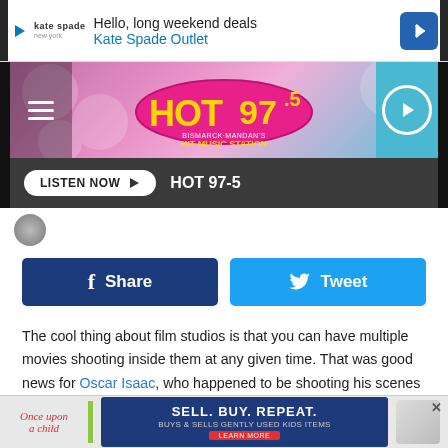[Figure (screenshot): Kate Spade Outlet advertisement banner: Hello, long weekend deals]
[Figure (logo): HOT 97.5 Bismarck-Mandan's #1 Hit Music Station radio station logo with pink/blue gradient header, hamburger menu left, play button right]
LISTEN NOW ▶  HOT 97-5
[Figure (screenshot): Facebook Share and Twitter Tweet social sharing buttons]
The cool thing about film studios is that you can have multiple movies shooting inside them at any given time. That was good news for Oscar Isaac, who happened to be shooting his scenes for Annihilation at the same time as that little indie sci-fi movie that came out in December.
When /Film talked to both Isaac and director Alex Garland,
[Figure (screenshot): Once Upon a Child advertisement: SELL. BUY. REPEAT. Buys & Sells Gently Used Kids Items. Learn More.]